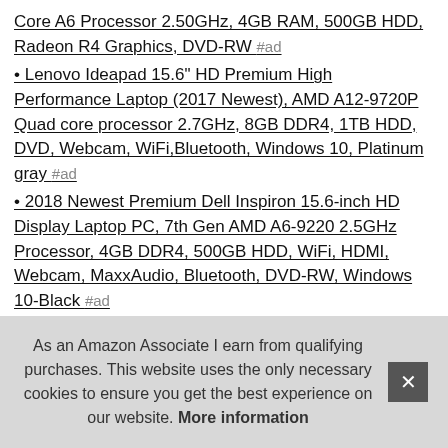Core A6 Processor 2.50GHz, 4GB RAM, 500GB HDD, Radeon R4 Graphics, DVD-RW #ad
• Lenovo Ideapad 15.6" HD Premium High Performance Laptop (2017 Newest), AMD A12-9720P Quad core processor 2.7GHz, 8GB DDR4, 1TB HDD, DVD, Webcam, WiFi,Bluetooth, Windows 10, Platinum gray #ad
• 2018 Newest Premium Dell Inspiron 15.6-inch HD Display Laptop PC, 7th Gen AMD A6-9220 2.5GHz Processor, 4GB DDR4, 500GB HDD, WiFi, HDMI, Webcam, MaxxAudio, Bluetooth, DVD-RW, Windows 10-Black #ad
• Acer Wireless Optical Mouse #ad
• Acer Aspire E 15, 15.6" Full HD, 8th Gen Intel Core i5-8250U, GeForce MX150, 8GB RAM Memory, 256GB SSD, E5-576G-5762 #ad
• HP (K5E)
As an Amazon Associate I earn from qualifying purchases. This website uses the only necessary cookies to ensure you get the best experience on our website. More information